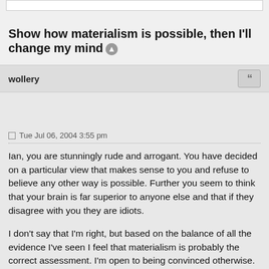Show how materialism is possible, then I'll change my mind
wollery
Tue Jul 06, 2004 3:55 pm
Ian, you are stunningly rude and arrogant. You have decided on a particular view that makes sense to you and refuse to believe any other way is possible. Further you seem to think that your brain is far superior to anyone else and that if they disagree with you they are idiots.
I don't say that I'm right, but based on the balance of all the evidence I've seen I feel that materialism is probably the correct assessment. I'm open to being convinced otherwise. You seem to have totally closed your mind to anything other than...